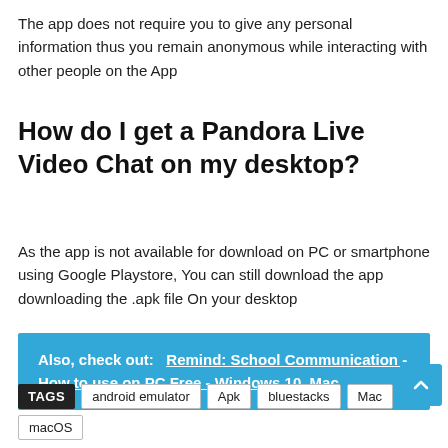The app does not require you to give any personal information thus you remain anonymous while interacting with other people on the App
How do I get a Pandora Live Video Chat on my desktop?
As the app is not available for download on PC or smartphone using Google Playstore, You can still download the app downloading the .apk file On your desktop
Also, check out:   Remind: School Communication - How to use on PC Free - Windows 10, Mac
TAGS  android emulator  Apk  bluestacks  Mac  macOS